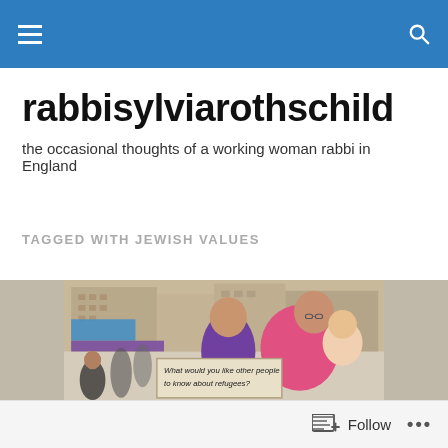rabbisylviarothschild navigation bar with menu and search
rabbisylviarothschild
the occasional thoughts of a working woman rabbi in England
TAGGED WITH JEWISH VALUES
[Figure (photo): A family of two adults and a baby standing in an outdoor urban setting. The man wears a purple shirt and the woman holds a baby in a pink outfit. In the foreground is a sign that reads 'What would you like other people to know about refugees?']
Follow ...